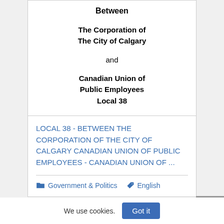Between
The Corporation of
The City of Calgary
and
Canadian Union of Public Employees Local 38
LOCAL 38 - BETWEEN THE CORPORATION OF THE CITY OF CALGARY CANADIAN UNION OF PUBLIC EMPLOYEES - CANADIAN UNION OF ...
Government & Politics   English
[Figure (other): Empty white card placeholder]